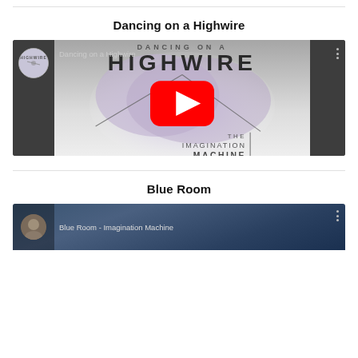Dancing on a Highwire
[Figure (screenshot): YouTube video thumbnail for 'Dancing on a Highwire' by The Imagination Machine, showing the video title overlay with a cloud-like purple/grey artwork, a red YouTube play button in the center, channel icon on the left sidebar, and three-dot menu on the right.]
Blue Room
[Figure (screenshot): YouTube video thumbnail for 'Blue Room - Imagination Machine', showing a dark blue atmospheric background with a person's face visible on the left sidebar, and the video title text partially visible.]